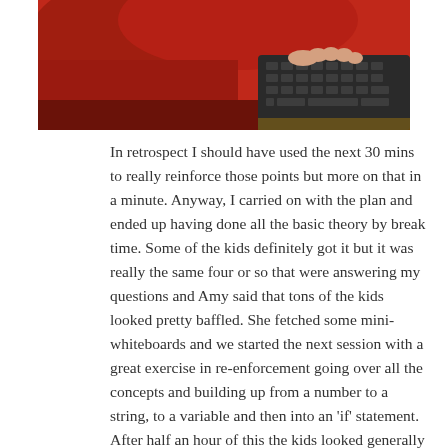[Figure (photo): A child in a red hoodie typing on a keyboard, viewed from above and slightly to the side.]
In retrospect I should have used the next 30 mins to really reinforce those points but more on that in a minute. Anyway, I carried on with the plan and ended up having done all the basic theory by break time. Some of the kids definitely got it but it was really the same four or so that were answering my questions and Amy said that tons of the kids looked pretty baffled. She fetched some mini-whiteboards and we started the next session with a great exercise in re-enforcement going over all the concepts and building up from a number to a string, to a variable and then into an 'if' statement. After half an hour of this the kids looked generally pretty happy with the ideas and they answered my questions correctly at least. If I were to do this again I would definitely integrate the whiteboard exercise through the theory and maybe